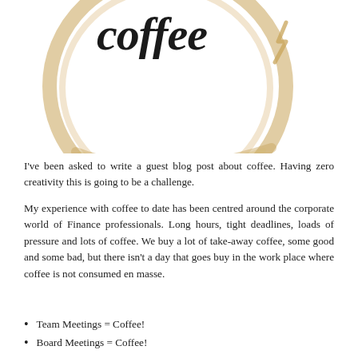[Figure (illustration): Decorative coffee illustration: large circular coffee stain ring in golden brown with brush script text 'coffee' in black at the top, and a small lightning bolt or decorative mark to the upper right]
I've been asked to write a guest blog post about coffee. Having zero creativity this is going to be a challenge.
My experience with coffee to date has been centred around the corporate world of Finance professionals. Long hours, tight deadlines, loads of pressure and lots of coffee. We buy a lot of take-away coffee, some good and some bad, but there isn't a day that goes buy in the work place where coffee is not consumed en masse.
Team Meetings = Coffee!
Board Meetings = Coffee!